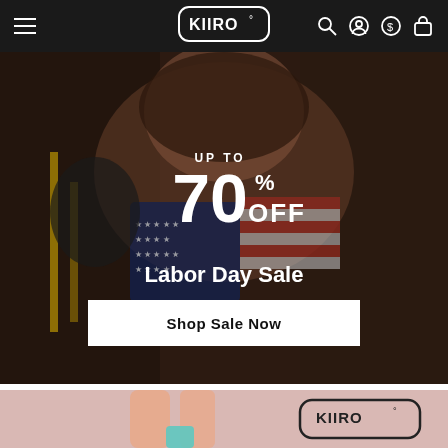KIIRO° navigation bar with hamburger menu, logo, search, account, currency, and bag icons
[Figure (photo): Hero banner showing a woman in an American flag bikini top with promotional text: UP TO 70% OFF, Labor Day Sale, Shop Sale Now button over a dark photographic background]
[Figure (illustration): Partial lower section showing a pink-toned illustration of a figure with KIIRO° logo badge]